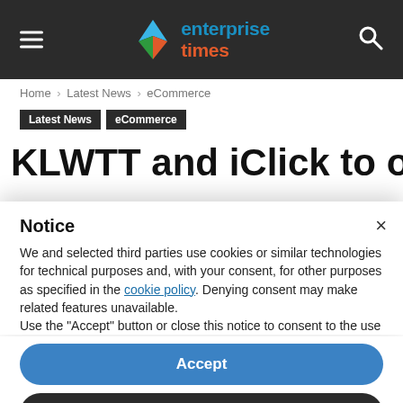enterprise times
Home › Latest News › eCommerce
Latest News  eCommerce
KLWTT and iClick to offer
Notice
We and selected third parties use cookies or similar technologies for technical purposes and, with your consent, for other purposes as specified in the cookie policy. Denying consent may make related features unavailable.
Use the "Accept" button or close this notice to consent to the use of such technologies.
Accept
Learn more and customise